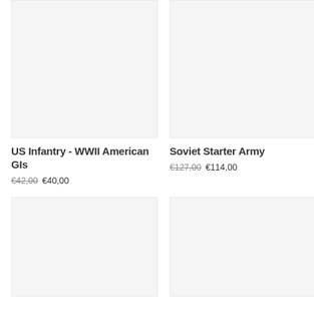[Figure (photo): Product image placeholder for US Infantry - WWII American GIs, light gray background]
US Infantry - WWII American GIs
€42,00 €40,00
[Figure (photo): Product image placeholder for Soviet Starter Army, light gray background]
Soviet Starter Army
€127,00 €114,00
[Figure (photo): Product image placeholder bottom left, light gray background]
[Figure (photo): Product image placeholder bottom right, light gray background]